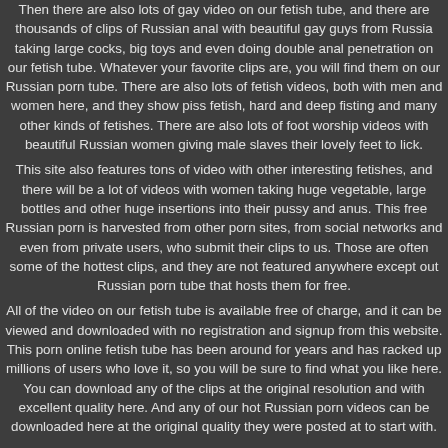Then there are also lots of gay video on our fetish tube, and there are thousands of clips of Russian anal with beautiful gay guys from Russia taking large cocks, big toys and even doing double anal penetration on our fetish tube. Whatever your favorite clips are, you will find them on our Russian porn tube. There are also lots of fetish videos, both with men and women here, and they show piss fetish, hard and deep fisting and many other kinds of fetishes. There are also lots of foot worship videos with beautiful Russian women giving male slaves their lovely feet to lick.
This site also features tons of video with other interesting fetishes, and there will be a lot of videos with women taking huge vegetable, large bottles and other huge insertions into their pussy and anus. This free Russian porn is harvested from other porn sites, from social networks and even from private users, who submit their clips to us. Those are often some of the hottest clips, and they are not featured anywhere except out Russian porn tube that hosts them for free.
All of the video on our fetish tube is available free of charge, and it can be viewed and downloaded with no registration and signup from this website. This porn online fetish tube has been around for years and has racked up millions of users who love it, so you will be sure to find what you like here. You can download any of the clips at the original resolution and with excellent quality here. And any of our hot Russian porn videos can be downloaded here at the original quality they were posted at to start with.